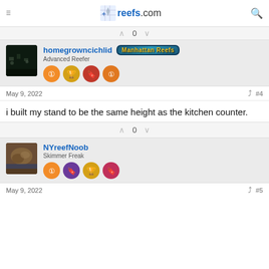reefs.com
0
[Figure (photo): User avatar for homegrowncichlid, dark aquarium photo]
homegrowncichlid
Advanced Reefer  Manhattan Reefs
May 9, 2022  #4
i built my stand to be the same height as the kitchen counter.
0
[Figure (photo): User avatar for NYreefNoob, brown coral/rock photo]
NYreefNoob
Skimmer Freak
May 9, 2022  #5